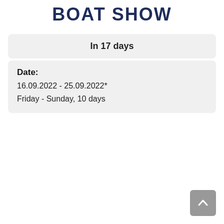BOAT SHOW
In 17 days
Date:
16.09.2022 - 25.09.2022*
Friday - Sunday, 10 days